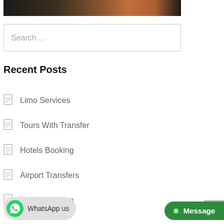[Figure (photo): Partial photo strip showing a dark/brown toned image at the top of the page]
Search ...
Recent Posts
Limo Services
Tours With Transfer
Hotels Booking
Airport Transfers
Dubai Museum
WhatsApp us
Message